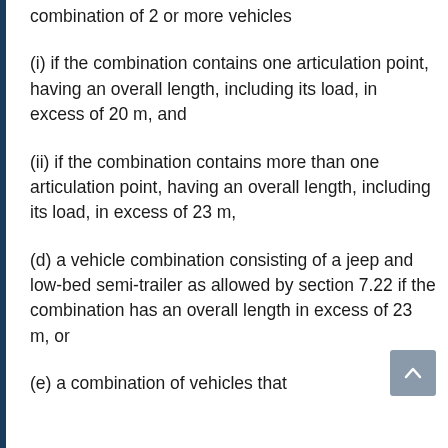combination of 2 or more vehicles
(i) if the combination contains one articulation point, having an overall length, including its load, in excess of 20 m, and
(ii) if the combination contains more than one articulation point, having an overall length, including its load, in excess of 23 m,
(d) a vehicle combination consisting of a jeep and low-bed semi-trailer as allowed by section 7.22 if the combination has an overall length in excess of 23 m, or
(e) a combination of vehicles that